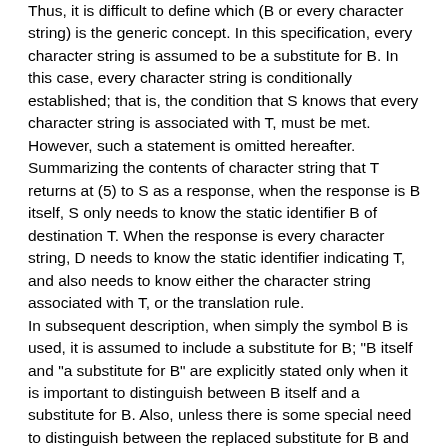Thus, it is difficult to define which (B or every character string) is the generic concept. In this specification, every character string is assumed to be a substitute for B. In this case, every character string is conditionally established; that is, the condition that S knows that every character string is associated with T, must be met. However, such a statement is omitted hereafter. Summarizing the contents of character string that T returns at (5) to S as a response, when the response is B itself, S only needs to know the static identifier B of destination T. When the response is every character string, D needs to know the static identifier indicating T, and also needs to know either the character string associated with T, or the translation rule.
In subsequent description, when simply the symbol B is used, it is assumed to include a substitute for B; "B itself and "a substitute for B" are explicitly stated only when it is important to distinguish between B itself and a substitute for B. Also, unless there is some special need to distinguish between the replaced substitute for B and translated substitute for B, the term "substitute for B" or "every character string" is simply used.
At (2), when S performs query using B and then B itself